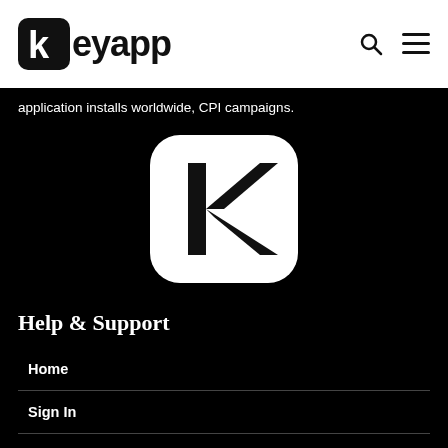keyapp
application installs worldwide, CPI campaigns.
[Figure (logo): Keyapp logo icon — white rounded square with black K symbol]
Help & Support
Home
Sign In
Contact Support